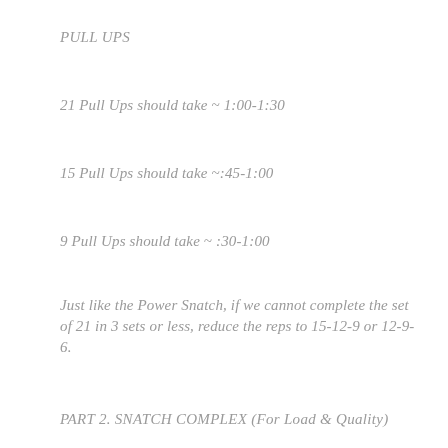PULL UPS
21 Pull Ups should take ~ 1:00-1:30
15 Pull Ups should take ~:45-1:00
9 Pull Ups should take ~ :30-1:00
Just like the Power Snatch, if we cannot complete the set of 21 in 3 sets or less, reduce the reps to 15-12-9 or 12-9-6.
PART 2. SNATCH COMPLEX (For Load & Quality)